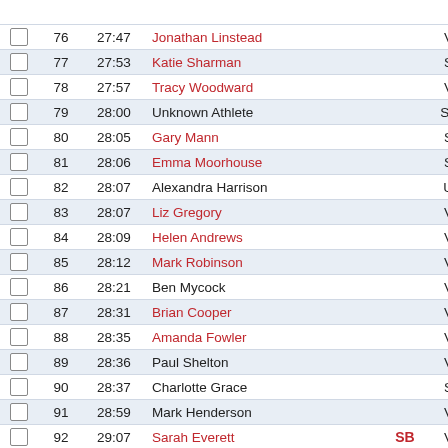|  | Pos | Time | Name | SB | Cat |
| --- | --- | --- | --- | --- | --- |
|  | 76 | 27:47 | Jonathan Linstead |  | V40 |
|  | 77 | 27:53 | Katie Sharman |  | S30 |
|  | 78 | 27:57 | Tracy Woodward |  | V45 |
|  | 79 | 28:00 | Unknown Athlete |  | SEN |
|  | 80 | 28:05 | Gary Mann |  | S30 |
|  | 81 | 28:06 | Emma Moorhouse |  | S30 |
|  | 82 | 28:07 | Alexandra Harrison |  | U15 |
|  | 83 | 28:07 | Liz Gregory |  | V50 |
|  | 84 | 28:09 | Helen Andrews |  | V50 |
|  | 85 | 28:12 | Mark Robinson |  | V45 |
|  | 86 | 28:21 | Ben Mycock |  | V35 |
|  | 87 | 28:31 | Brian Cooper |  | V50 |
|  | 88 | 28:35 | Amanda Fowler |  | V45 |
|  | 89 | 28:36 | Paul Shelton |  | V65 |
|  | 90 | 28:37 | Charlotte Grace |  | S20 |
|  | 91 | 28:59 | Mark Henderson |  | V50 |
|  | 92 | 29:07 | Sarah Everett | SB | V45 |
|  | 93 | 29:11 | Ant Everett |  | V40 |
|  | 94 | 29:13 | Garry Carr |  | V50 |